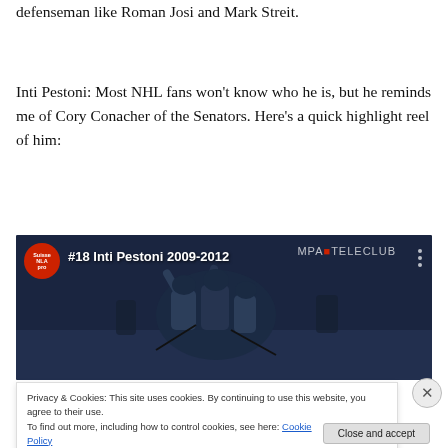defenseman like Roman Josi and Mark Streit.
Inti Pestoni: Most NHL fans won't know who he is, but he reminds me of Cory Conacher of the Senators. Here's a quick highlight reel of him:
[Figure (screenshot): Video thumbnail showing hockey players celebrating, with Swiss NLA logo, title '#18 Inti Pestoni 2009-2012', and MPA TELECLUB branding in top right.]
Privacy & Cookies: This site uses cookies. By continuing to use this website, you agree to their use.
To find out more, including how to control cookies, see here: Cookie Policy